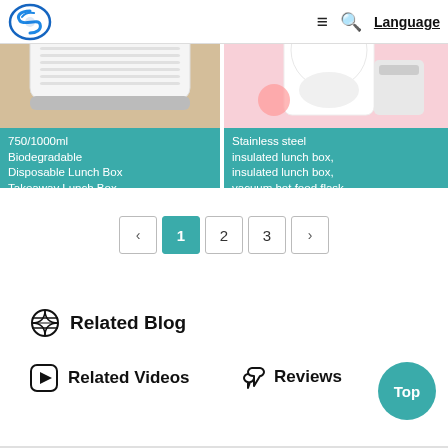[Figure (screenshot): Website header with logo (blue spiral S logo), hamburger menu, search icon, and Language link]
[Figure (photo): Product card showing 750/1000ml Biodegradable Disposable Lunch Box Takeaway Lunch Box with teal label]
[Figure (photo): Product card showing Stainless steel insulated lunch box, insulated lunch box, vacuum hot food flask with teal label]
‹  1  2  3  ›  (pagination controls, page 1 active)
Related Blog
Related Videos
Reviews